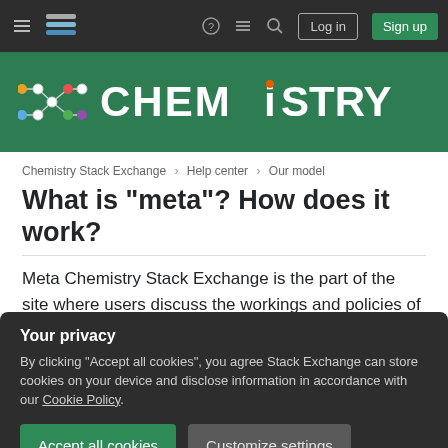Chemistry Stack Exchange - Log in / Sign up
[Figure (logo): Chemistry Stack Exchange site logo — hexagonal molecule icon with colored nodes and CHEMISTRY text on green banner background]
Chemistry Stack Exchange > Help center > Our model
What is "meta"? How does it work?
Meta Chemistry Stack Exchange is the part of the site where users discuss the workings and policies of Chemistry Stack Exchange rather than discussing chemistry itself. It is separated from the main
Your privacy
By clicking "Accept all cookies", you agree Stack Exchange can store cookies on your device and disclose information in accordance with our Cookie Policy.
questions about how the websites work, or about policies and